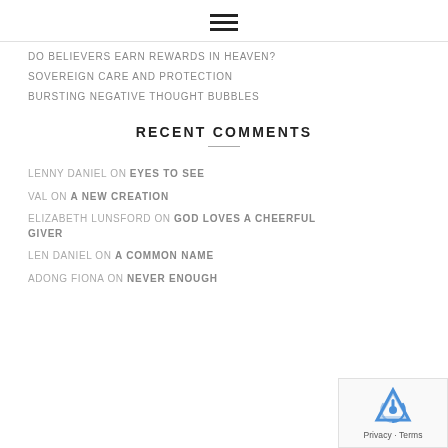[Figure (other): Hamburger menu icon — three horizontal lines]
DO BELIEVERS EARN REWARDS IN HEAVEN?
SOVEREIGN CARE AND PROTECTION
BURSTING NEGATIVE THOUGHT BUBBLES
RECENT COMMENTS
LENNY DANIEL ON EYES TO SEE
VAL ON A NEW CREATION
ELIZABETH LUNSFORD ON GOD LOVES A CHEERFUL GIVER
LEN DANIEL ON A COMMON NAME
ADONG FIONA ON NEVER ENOUGH